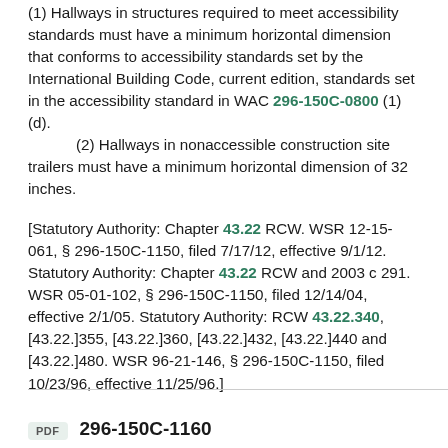(1) Hallways in structures required to meet accessibility standards must have a minimum horizontal dimension that conforms to accessibility standards set by the International Building Code, current edition, standards set in the accessibility standard in WAC 296-150C-0800 (1)(d).
(2) Hallways in nonaccessible construction site trailers must have a minimum horizontal dimension of 32 inches.
[Statutory Authority: Chapter 43.22 RCW. WSR 12-15-061, § 296-150C-1150, filed 7/17/12, effective 9/1/12. Statutory Authority: Chapter 43.22 RCW and 2003 c 291. WSR 05-01-102, § 296-150C-1150, filed 12/14/04, effective 2/1/05. Statutory Authority: RCW 43.22.340, [43.22.]355, [43.22.]360, [43.22.]432, [43.22.]440 and [43.22.]480. WSR 96-21-146, § 296-150C-1150, filed 10/23/96, effective 11/25/96.]
296-150C-1160